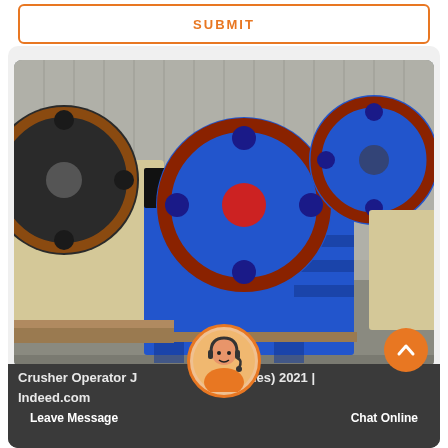SUBMIT
[Figure (photo): Industrial jaw crushers in a factory setting. Two large blue jaw crusher machines with red-rimmed flywheels are in the foreground, and a beige/cream colored jaw crusher is visible to the left. The machines are in an industrial warehouse with corrugated metal walls.]
Crusher Operator Jobs (with Salaries) 2021 | Indeed.com
Leave Message
Chat Online